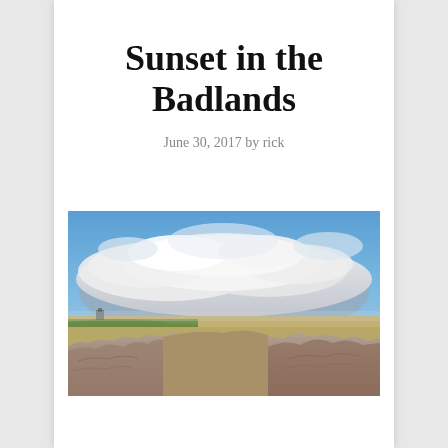Sunset in the Badlands
June 30, 2017 by rick
[Figure (photo): Panoramic landscape photo of the Badlands at sunset. Wide flat terrain with eroded rocky formations in the foreground and lower portion, grass and flat plains in the middle ground, and a dramatic sky with large cumulus clouds against blue sky filling the upper half of the image.]